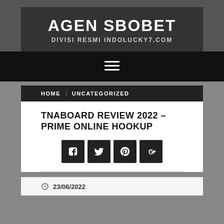AGEN SBOBET
DIVISI RESMI INDOLUCKY7.COM
Navigation menu (hamburger icon)
HOME | UNCATEGORIZED
TNABOARD REVIEW 2022 – PRIME ONLINE HOOKUP
[Figure (other): Social sharing buttons: Facebook, Twitter, Pinterest, Google+]
23/06/2022